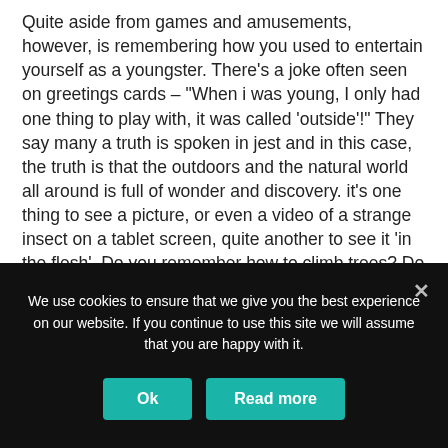Quite aside from games and amusements, however, is remembering how you used to entertain yourself as a youngster. There's a joke often seen on greetings cards – "When i was young, I only had one thing to play with, it was called 'outside'!" They say many a truth is spoken in jest and in this case, the truth is that the outdoors and the natural world all around is full of wonder and discovery. it's one thing to see a picture, or even a video of a strange insect on a tablet screen, quite another to see it 'in the flesh'. Do you remember how to climb trees? Do your kids know how? Isn't it time they learned? Are there fish in that stream? Could you build a dam, or a waterwheel, or race
We use cookies to ensure that we give you the best experience on our website. If you continue to use this site we will assume that you are happy with it.